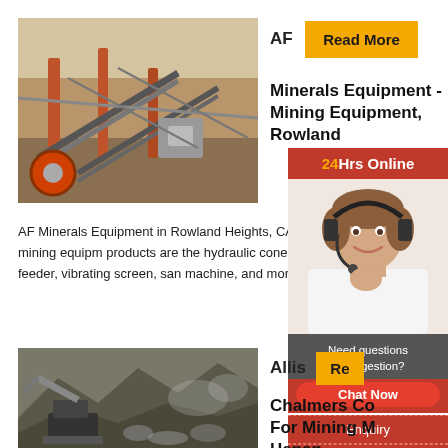[Figure (photo): Mining/crushing equipment with conveyor belts and machinery at an industrial site]
AF
Read More
Minerals Equipment - Mining Equipment, Rowland
[Figure (photo): Customer service representative wearing headset, smiling]
24Hrs Online
AF Minerals Equipment in Rowland Heights, CA s design, manufacturing, and sales of mining equip products are the hydraulic cone crusher, vertical s crusher, jaw crusher, feeder, vibrating screen, san machine, and more. Contact us today.
[Figure (photo): Quarry or mining excavation site with heavy machinery]
Allis
Re
Chalmers Co For Mining M Henan ...
Need questions & suggestion?
Chat Now
Enquiry
limingjilmofen